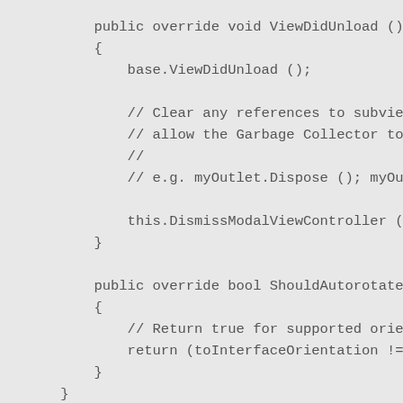public override void ViewDidUnload ()
        {
            base.ViewDidUnload ();

            // Clear any references to subviews o
            // allow the Garbage Collector to col
            //
            // e.g. myOutlet.Dispose (); myOutlet

            this.DismissModalViewController (true
        }

        public override bool ShouldAutorotateToIn
        {
            // Return true for supported orientat
            return (toInterfaceOrientation != UII
        }
    }
}